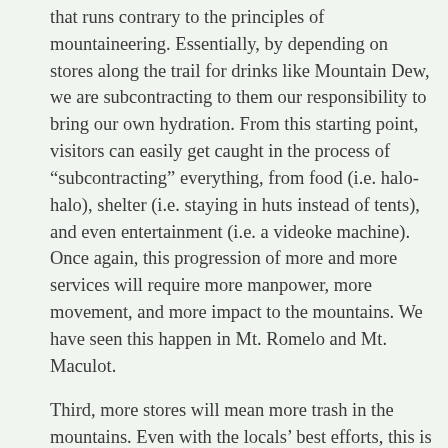that runs contrary to the principles of mountaineering. Essentially, by depending on stores along the trail for drinks like Mountain Dew, we are subcontracting to them our responsibility to bring our own hydration. From this starting point, visitors can easily get caught in the process of “subcontracting” everything, from food (i.e. halo-halo), shelter (i.e. staying in huts instead of tents), and even entertainment (i.e. a videoke machine). Once again, this progression of more and more services will require more manpower, more movement, and more impact to the mountains. We have seen this happen in Mt. Romelo and Mt. Maculot.
Third, more stores will mean more trash in the mountains. Even with the locals’ best efforts, this is the inevitable consequence of more products lying around, and more visitors coming to the mountain. Again we have seen this happen in several mountains.
The locals are not to blame in this situation. Actually,